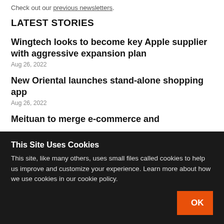Check out our previous newsletters.
LATEST STORIES
Wingtech looks to become key Apple supplier with aggressive expansion plan
Aug 26, 2022
New Oriental launches stand-alone shopping app
Aug 26, 2022
Meituan to merge e-commerce and
This Site Uses Cookies
This site, like many others, uses small files called cookies to help us improve and customize your experience. Learn more about how we use cookies in our cookie policy.